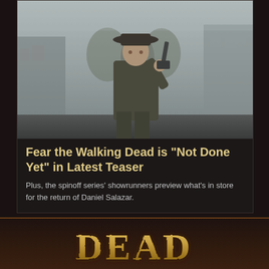[Figure (photo): A man in a wide-brimmed hat holding a revolver raised up, standing in a foggy western town street setting. Dark, moody atmosphere.]
Fear the Walking Dead is "Not Done Yet" in Latest Teaser
Plus, the spinoff series' showrunners preview what's in store for the return of Daniel Salazar.
[Figure (logo): DEAD logo text in distressed golden/weathered font at the bottom of the page on a dark brown background]